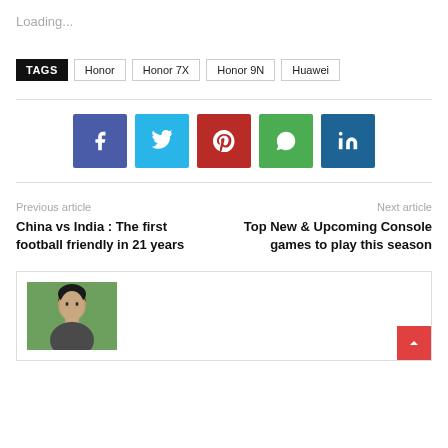Loading...
TAGS  Honor  Honor 7X  Honor 9N  Huawei
[Figure (infographic): Social share buttons: Facebook (blue), Twitter (cyan), Pinterest (red), WhatsApp (green), LinkedIn (dark blue)]
Previous article
China vs India : The first football friendly in 21 years
Next article
Top New & Upcoming Console games to play this season
[Figure (photo): Author profile photo showing a young man with dark hair against a green/outdoor background]